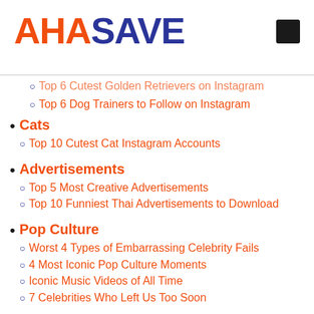AHASAVE
Top 6 Cutest Golden Retrievers on Instagram
Top 6 Dog Trainers to Follow on Instagram
Cats
Top 10 Cutest Cat Instagram Accounts
Advertisements
Top 5 Most Creative Advertisements
Top 10 Funniest Thai Advertisements to Download
Pop Culture
Worst 4 Types of Embarrassing Celebrity Fails
4 Most Iconic Pop Culture Moments
Iconic Music Videos of All Time
7 Celebrities Who Left Us Too Soon